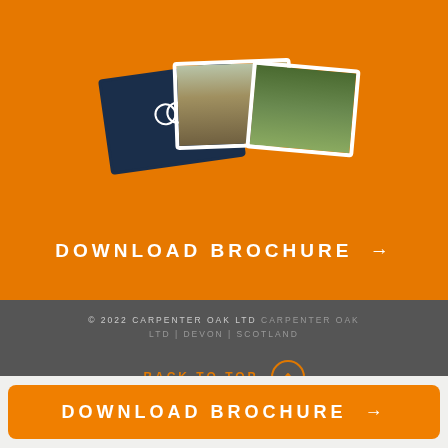[Figure (illustration): Orange background section with three overlapping brochure cards/photos showing a dark blue cover with CO logo, a building interior photo, and a treehouse exterior photo]
DOWNLOAD BROCHURE →
© 2022 CARPENTER OAK LTD CARPENTER OAK LTD | DEVON | SCOTLAND
BACK TO TOP ⌃
DOWNLOAD BROCHURE →